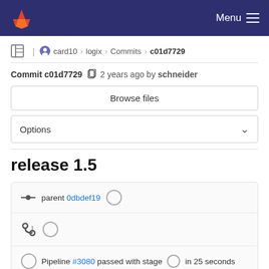Menu
card10 > logix > Commits > c01d7729
Commit c01d7729  2 years ago by schneider
Browse files
Options
release 1.5
parent 0dbdef19
Pipeline #3080 passed with stage  in 25 seconds